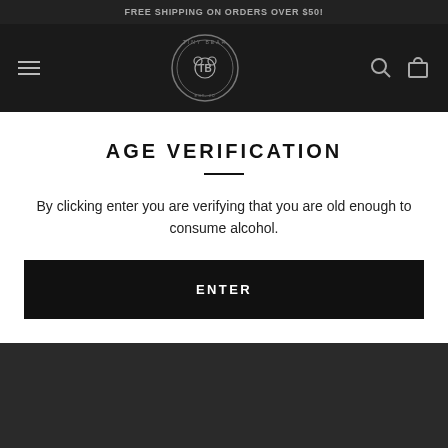FREE SHIPPING ON ORDERS OVER $50!
[Figure (logo): Tiny Bear brand logo - circular badge with bear illustration and text 'TINY BEAR EST. 20--' with hamburger menu, search and cart icons in dark navigation bar]
AGE VERIFICATION
By clicking enter you are verifying that you are old enough to consume alcohol.
ENTER